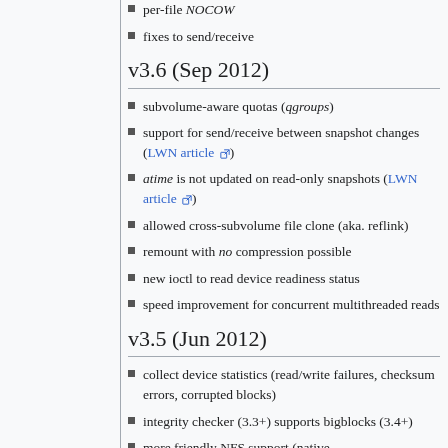per-file NOCOW
fixes to send/receive
v3.6 (Sep 2012)
subvolume-aware quotas (qgroups)
support for send/receive between snapshot changes (LWN article)
atime is not updated on read-only snapshots (LWN article)
allowed cross-subvolume file clone (aka. reflink)
remount with no compression possible
new ioctl to read device readiness status
speed improvement for concurrent multithreaded reads
v3.5 (Jun 2012)
collect device statistics (read/write failures, checksum errors, corrupted blocks)
integrity checker (3.3+) supports bigblocks (3.4+)
more friendly NFS support (native